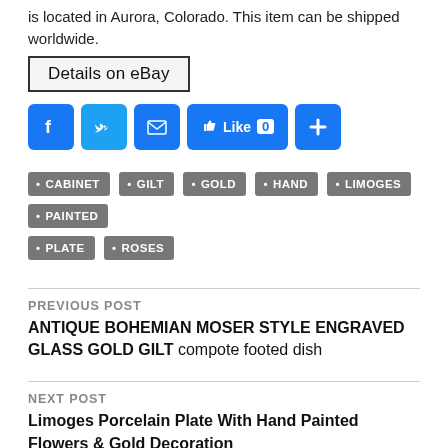is located in Aurora, Colorado. This item can be shipped worldwide.
Details on eBay
[Figure (screenshot): Social sharing buttons: Facebook, Twitter, Email, Facebook Like (0), and plus/share button]
CABINET
GILT
GOLD
HAND
LIMOGES
PAINTED
PLATE
ROSES
PREVIOUS POST
ANTIQUE BOHEMIAN MOSER STYLE ENGRAVED GLASS GOLD GILT compote footed dish
NEXT POST
Limoges Porcelain Plate With Hand Painted Flowers & Gold Decoration